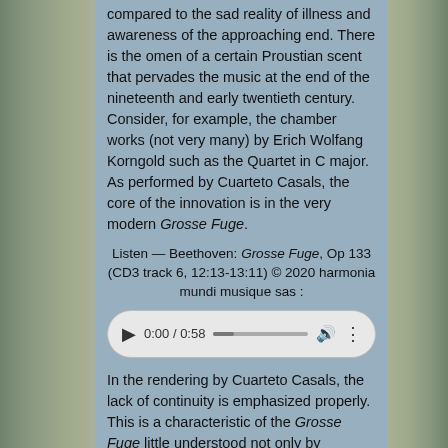compared to the sad reality of illness and awareness of the approaching end. There is the omen of a certain Proustian scent that pervades the music at the end of the nineteenth and early twentieth century. Consider, for example, the chamber works (not very many) by Erich Wolfang Korngold such as the Quartet in C major. As performed by Cuarteto Casals, the core of the innovation is in the very modern Grosse Fuge.
Listen — Beethoven: Grosse Fuge, Op 133 (CD3 track 6, 12:13-13:11) © 2020 harmonia mundi musique sas :
[Figure (other): Audio player showing 0:00 / 0:58 with play button, progress bar, volume icon, and menu dots]
In the rendering by Cuarteto Casals, the lack of continuity is emphasized properly. This is a characteristic of the Grosse Fuge little understood not only by Beethoven's contemporaries but also for much of the nineteenth century. In fact, it is a bold and innovative sonata in three movements that have a single thematic germ: that of